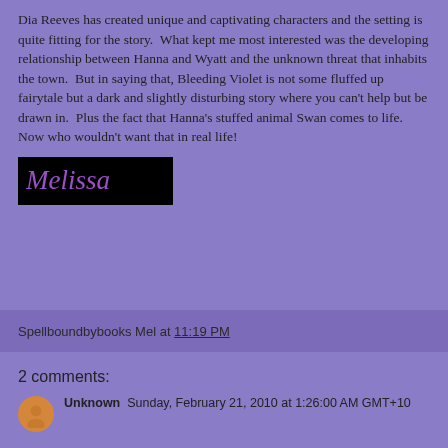Dia Reeves has created unique and captivating characters and the setting is quite fitting for the story.  What kept me most interested was the developing relationship between Hanna and Wyatt and the unknown threat that inhabits the town.  But in saying that, Bleeding Violet is not some fluffed up fairytale but a dark and slightly disturbing story where you can't help but be drawn in.  Plus the fact that Hanna's stuffed animal Swan comes to life.  Now who wouldn't want that in real life!
[Figure (logo): Black rectangle with purple cursive text reading 'Melissa']
Spellboundbybooks Mel at 11:19 PM
2 comments:
Unknown  Sunday, February 21, 2010 at 1:26:00 AM GMT+10